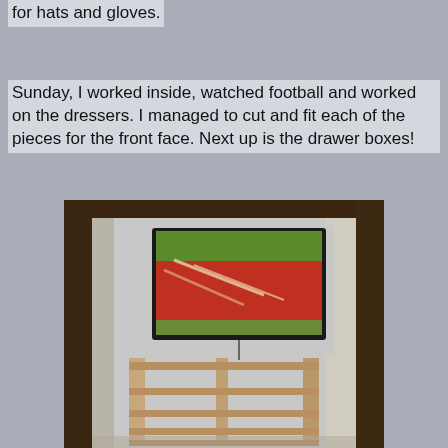for hats and gloves.
Sunday, I worked inside, watched football and worked on the dressers. I managed to cut and fit each of the pieces for the front face. Next up is the drawer boxes!
[Figure (photo): A wooden dresser frame in progress inside a room, with a TV mounted on the wall showing food on screen. The dresser frame is made of light wood with multiple horizontal rails forming drawer openings. Dark wood trim frames the room entrance.]